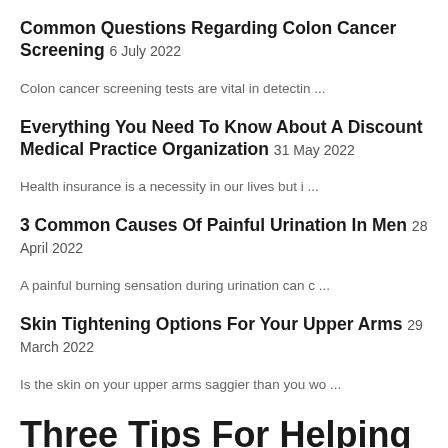Common Questions Regarding Colon Cancer Screening 6 July 2022
Colon cancer screening tests are vital in detectin ...
Everything You Need To Know About A Discount Medical Practice Organization 31 May 2022
Health insurance is a necessity in our lives but i ...
3 Common Causes Of Painful Urination In Men 28 April 2022
A painful burning sensation during urination can c ...
Skin Tightening Options For Your Upper Arms 29 March 2022
Is the skin on your upper arms saggier than you wo ...
Three Tips For Helping Your Baby Get To Sleep